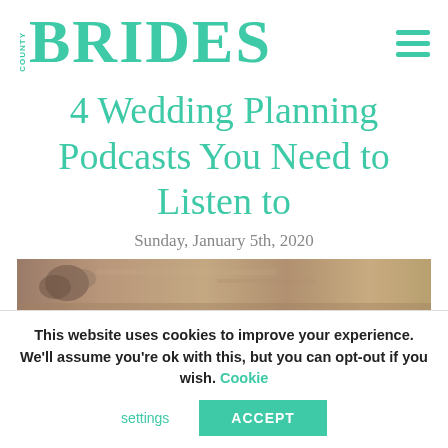COUNTY BRIDES
4 Wedding Planning Podcasts You Need to Listen to
Sunday, January 5th, 2020
[Figure (photo): Partial hero image showing a floral or stone texture, cropped at the bottom of the visible area]
This website uses cookies to improve your experience. We'll assume you're ok with this, but you can opt-out if you wish. Cookie settings ACCEPT